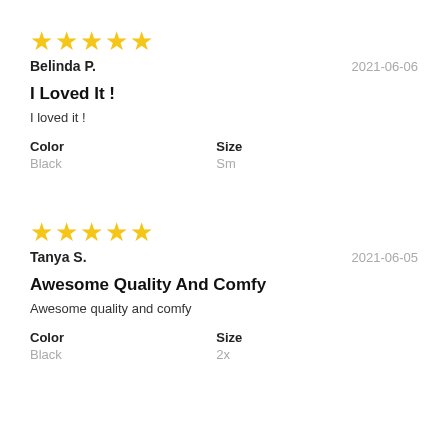[Figure (other): 5 yellow star rating icons]
Belinda P.    2021-06-06
I Loved It !
I loved it !
Color
Black
Size
Sm
[Figure (other): 5 yellow star rating icons]
Tanya S.    2021-06-05
Awesome Quality And Comfy
Awesome quality and comfy
Color
Black
Size
2x